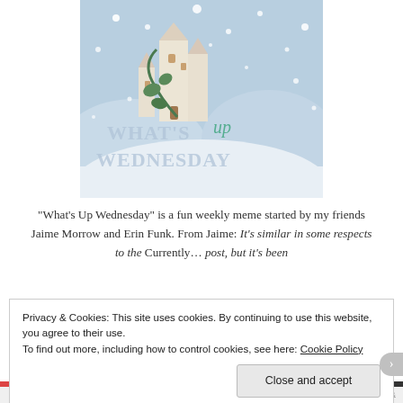[Figure (illustration): Winter castle illustration with snow falling, snowy hills, green vine on castle, text overlay reading WHAT'S up WEDNESDAY in light blue serif and teal script fonts]
“What’s Up Wednesday” is a fun weekly meme started by my friends Jaime Morrow and Erin Funk. From Jaime: It’s similar in some respects to the Currently… post, but it’s been
Privacy & Cookies: This site uses cookies. By continuing to use this website, you agree to their use.
To find out more, including how to control cookies, see here: Cookie Policy
Close and accept